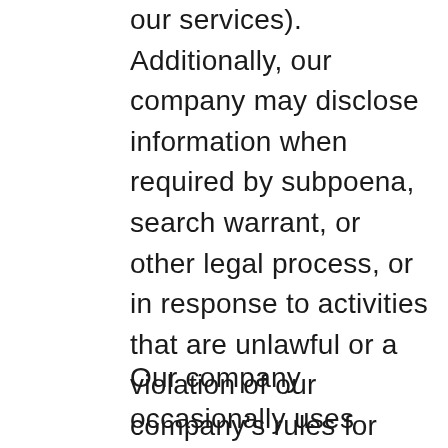our services). Additionally, our company may disclose information when required by subpoena, search warrant, or other legal process, or in response to activities that are unlawful or a violation of our company's rules for use of the website, or to protect and defend the rights or property of our company.
Our company occasionally uses certain outside companies to help us deliver online communications